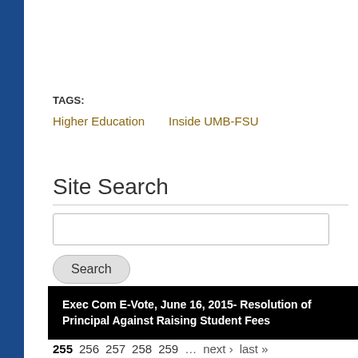TAGS:
Higher Education
Inside UMB-FSU
Site Search
Exec Com E-Vote, June 16, 2015- Resolution of Principal Against Raising Student Fees
255  256  257  258  259  ...  next ›  last »